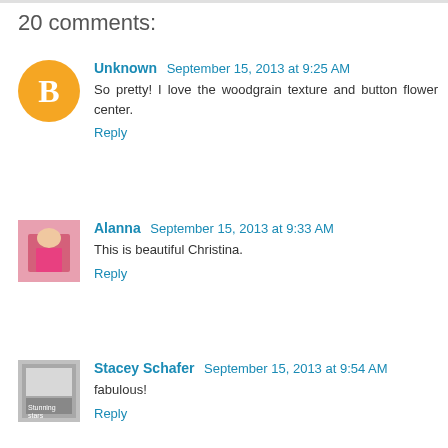20 comments:
Unknown September 15, 2013 at 9:25 AM
So pretty! I love the woodgrain texture and button flower center.
Reply
Alanna September 15, 2013 at 9:33 AM
This is beautiful Christina.
Reply
Stacey Schafer September 15, 2013 at 9:54 AM
fabulous!
Reply